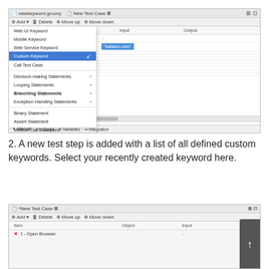[Figure (screenshot): IDE screenshot showing a context menu with options including Web UI Keyword, Mobile Keyword, Web Service Keyword, Custom Keyword (highlighted), Call Test Case, Decision-making Statements, Looping Statements, Branching Statements, Exception Handling Statements, Binary Statement, Assert Statement, Method Call Statement, Method. The right panel shows Input/Output columns with a 'katalon.com' entry highlighted in blue.]
2. A new test step is added with a list of all defined custom keywords. Select your recently created keyword here.
[Figure (screenshot): IDE screenshot of New Test Case showing a table with columns Item, Object, Input. Row 1 shows '1 - Open Browser'. A scroll-up button is visible on the right.]